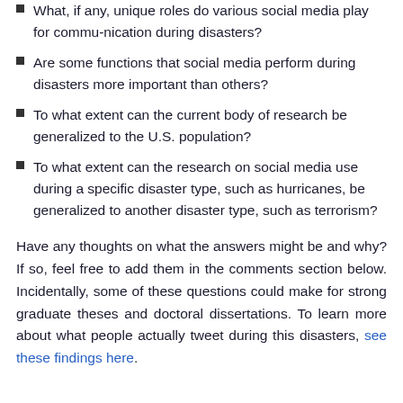What, if any, unique roles do various social media play for commu-nication during disasters?
Are some functions that social media perform during disasters more important than others?
To what extent can the current body of research be generalized to the U.S. population?
To what extent can the research on social media use during a specific disaster type, such as hurricanes, be generalized to another disaster type, such as terrorism?
Have any thoughts on what the answers might be and why? If so, feel free to add them in the comments section below. Incidentally, some of these questions could make for strong graduate theses and doctoral dissertations. To learn more about what people actually tweet during this disasters, see these findings here.